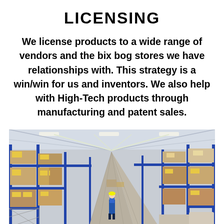LICENSING
We license products to a wide range of vendors and the bix bog stores we have relationships with. This strategy is a win/win for us and inventors. We also help with High-Tech products through manufacturing and patent sales.
[Figure (photo): A warehouse interior showing large industrial shelving racks filled with cardboard boxes with yellow labels, with a long aisle running into the distance and a worker visible in the background.]